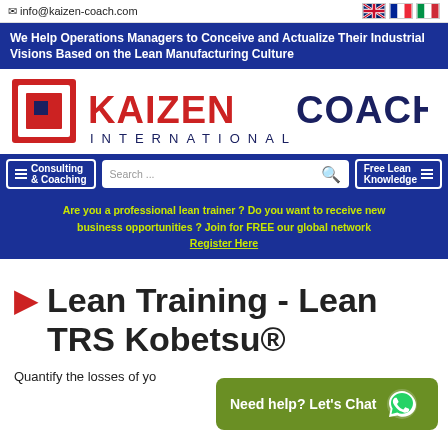info@kaizen-coach.com
We Help Operations Managers to Conceive and Actualize Their Industrial Visions Based on the Lean Manufacturing Culture
[Figure (logo): Kaizen Coach International logo with red and navy blue branding]
Consulting & Coaching | Search ... | Free Lean Knowledge
Are you a professional lean trainer ? Do you want to receive new business opportunities ? Join for FREE our global network Register Here
Lean Training - Lean TRS Kobetsu®
Quantify the losses of yo
[Figure (screenshot): Need help? Let's Chat WhatsApp button (green)]